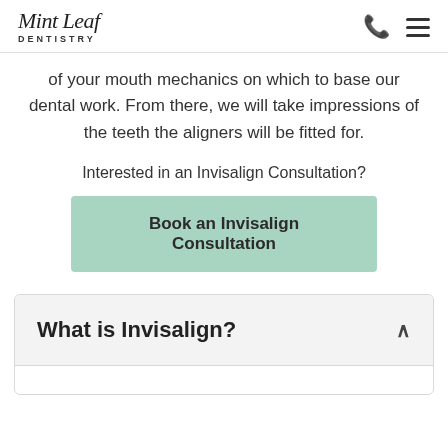Mint Leaf Dentistry
of your mouth mechanics on which to base our dental work. From there, we will take impressions of the teeth the aligners will be fitted for.
Interested in an Invisalign Consultation?
Book an Invisalign Consultation
What is Invisalign?